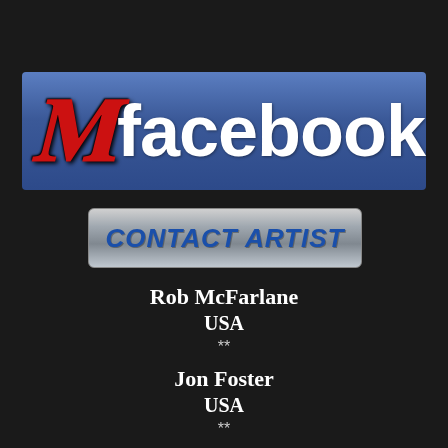[Figure (logo): Facebook logo banner with red gothic 'M' letter on left and 'facebook' text in white on blue background]
[Figure (logo): Metallic button/banner with 'CONTACT ARTIST' text in blue italic bold letters on silver/grey background]
Rob McFarlane
USA
**
Jon Foster
USA
**